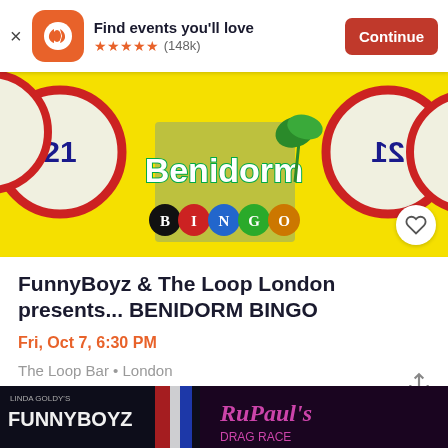Find events you'll love ★★★★★ (148k) Continue
[Figure (photo): Benidorm Bingo promotional banner with bingo balls and the word Benidorm Bingo on a yellow background]
FunnyBoyz & The Loop London presents... BENIDORM BINGO
Fri, Oct 7, 6:30 PM
The Loop Bar • London
£11.19 - £16.49
[Figure (photo): FunnyBoyz RuPaul's Drag Race promotional event banner at the bottom of the page]